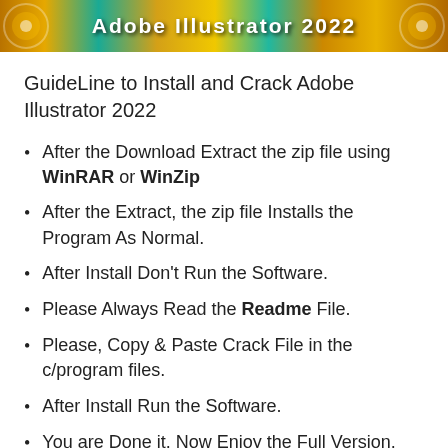[Figure (illustration): Decorative banner with colorful gradient background in teal, orange, and yellow tones with stylized text reading 'Adobe Illustrator 2022']
GuideLine to Install and Crack Adobe Illustrator 2022
After the Download Extract the zip file using WinRAR or WinZip
After the Extract, the zip file Installs the Program As Normal.
After Install Don't Run the Software.
Please Always Read the Readme File.
Please, Copy & Paste Crack File in the c/program files.
After Install Run the Software.
You are Done it. Now Enjoy the Full Version.